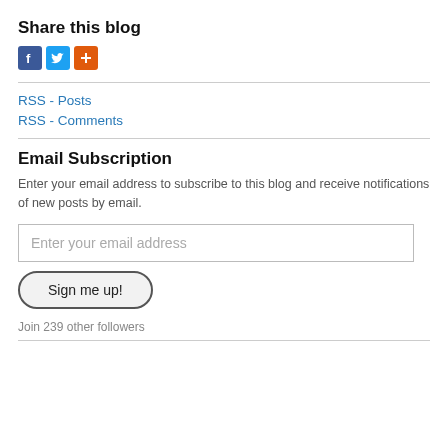Share this blog
[Figure (illustration): Three social sharing icons: Facebook (blue), Twitter (light blue), and a red/orange plus/add button]
RSS - Posts
RSS - Comments
Email Subscription
Enter your email address to subscribe to this blog and receive notifications of new posts by email.
Enter your email address
Sign me up!
Join 239 other followers